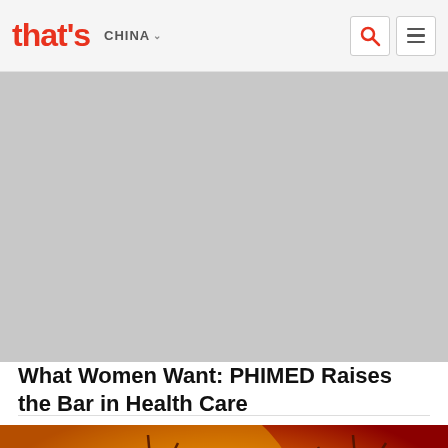that's CHINA
[Figure (photo): Gray placeholder image for article about PHIMED women's health care]
What Women Want: PHIMED Raises the Bar in Health Care
[Figure (photo): Electron microscope image of coronavirus particles on red/orange/yellow background]